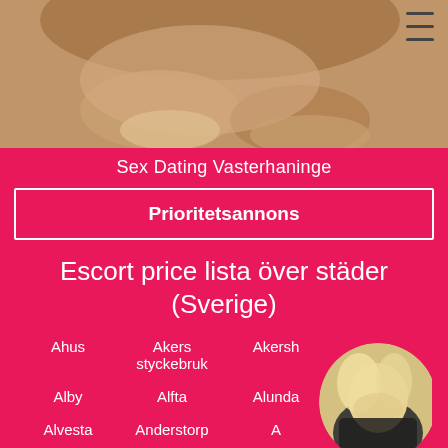[Figure (photo): Cropped photo of a person's lower body/legs curled up, skin-toned background, with hamburger menu icon top right]
Sex Dating Vasterhaninge
Prioritetsannons
Escort price lista över städer (Sverige)
Ahus
Akers styckebruk
Akersh...
Alby
Alfta
Alunda
A...
Alvesta
Anderstorp
A...
Angelholm
Ankarsrum
Are
Arild
[Figure (photo): Circular avatar photo of a blonde woman in black lingerie, partially overlapping the city grid]